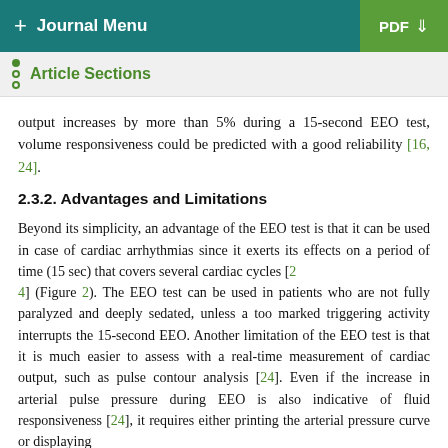+ Journal Menu   PDF
Article Sections
output increases by more than 5% during a 15-second EEO test, volume responsiveness could be predicted with a good reliability [16, 24].
2.3.2. Advantages and Limitations
Beyond its simplicity, an advantage of the EEO test is that it can be used in case of cardiac arrhythmias since it exerts its effects on a period of time (15 sec) that covers several cardiac cycles [24] (Figure 2). The EEO test can be used in patients who are not fully paralyzed and deeply sedated, unless a too marked triggering activity interrupts the 15-second EEO. Another limitation of the EEO test is that it is much easier to assess with a real-time measurement of cardiac output, such as pulse contour analysis [24]. Even if the increase in arterial pulse pressure during EEO is also indicative of fluid responsiveness [24], it requires either printing the arterial pressure curve or displaying